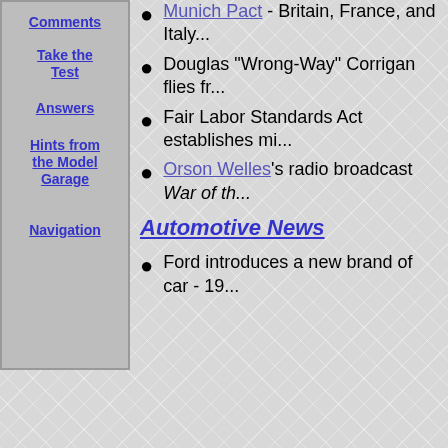Munich Pact - Britain, France, and Italy...
Douglas "Wrong-Way" Corrigan flies fr...
Fair Labor Standards Act establishes mi...
Orson Welles's radio broadcast War of th...
Automotive News
Ford introduces a new brand of car - 19...
Comments
Take the Test
Answers
Hints from the Model Garage
Navigation